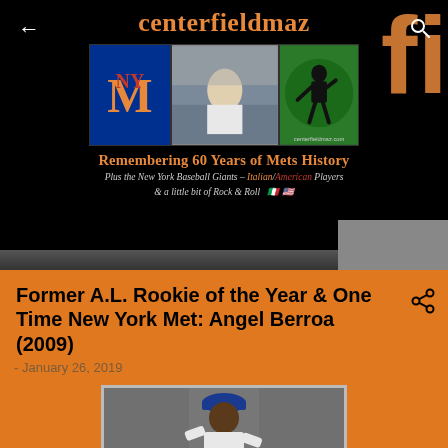centerfieldmaz — Remembering 60 Years of Mets History. Plus the New York Baseball Giants – Italian/American Players & a little bit of Rock & Roll
Former A.L. Rookie of the Year & One Time New York Met: Angel Berroa (2009)
- January 26, 2019
[Figure (photo): Photo of Angel Berroa in New York Mets uniform, blue cap with NY logo, fielding pose]